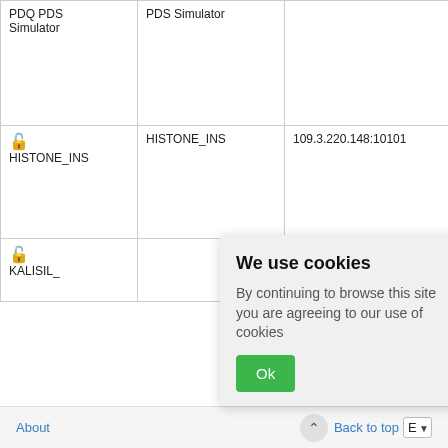|  |  |  |  |
| --- | --- | --- | --- |
| PDQ PDS Simulator | PDS Simulator |  | IH IT (R S ... |
| 🔓 HISTONE_INS | HISTONE_INS | 109.3.220.148:10101 | IH IT (R P ... IH IT (R P ... |
| 🔓 KALISIL_ |  | .0502 | IH IT (R P ... |
We use cookies
By continuing to browse this site you are agreeing to our use of cookies
About   Back to top   E